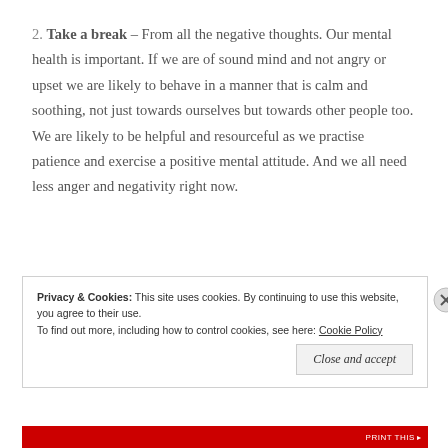2. Take a break – From all the negative thoughts. Our mental health is important. If we are of sound mind and not angry or upset we are likely to behave in a manner that is calm and soothing, not just towards ourselves but towards other people too. We are likely to be helpful and resourceful as we practise patience and exercise a positive mental attitude. And we all need less anger and negativity right now.
Privacy & Cookies: This site uses cookies. By continuing to use this website, you agree to their use. To find out more, including how to control cookies, see here: Cookie Policy